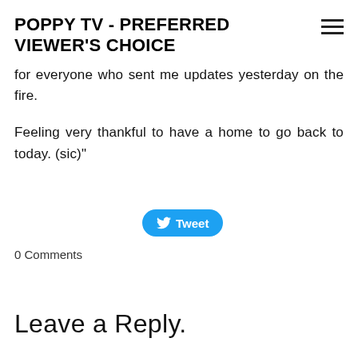POPPY TV - PREFERRED VIEWER'S CHOICE
for everyone who sent me updates yesterday on the fire.
Feeling very thankful to have a home to go back to today. (sic)"
[Figure (other): Tweet button with Twitter bird icon]
0 Comments
Leave a Reply.